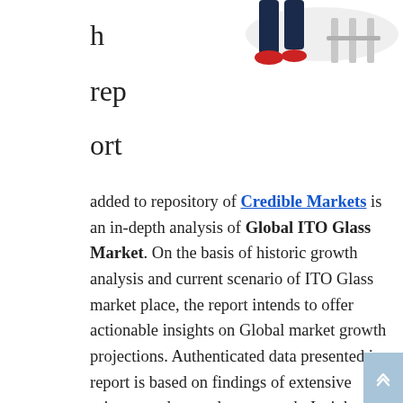[Figure (illustration): Partial illustration of a person walking, visible from waist down, wearing dark pants and red shoes, with abstract background shapes]
h
rep
ort
added to repository of Credible Markets is an in-depth analysis of Global ITO Glass Market. On the basis of historic growth analysis and current scenario of ITO Glass market place, the report intends to offer actionable insights on Global market growth projections. Authenticated data presented in report is based on findings of extensive primary and secondary research. Insights drawn from data serve as excellent tools that facilitate deeper understanding of multiple aspects of